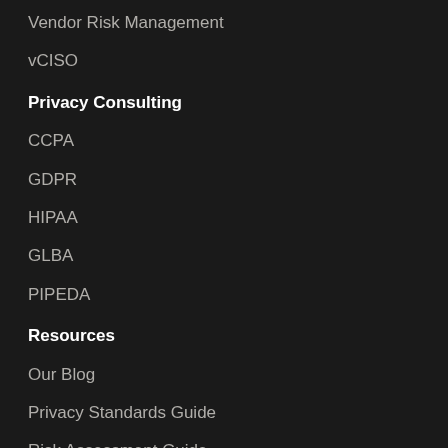Vendor Risk Management
vCISO
Privacy Consulting
CCPA
GDPR
HIPAA
GLBA
PIPEDA
Resources
Our Blog
Privacy Standards Guide
Risk Assessment Guide
Security Programs Guide
PCI DSS Guide